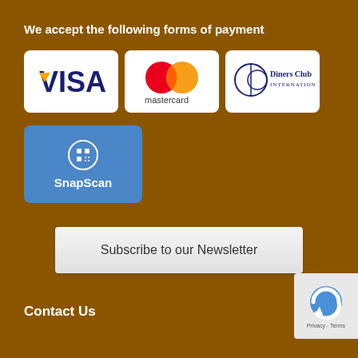We accept the following forms of payment
[Figure (logo): Visa credit card logo - white rounded rectangle with VISA text in blue and gold]
[Figure (logo): Mastercard logo - white rounded rectangle with red and orange overlapping circles above 'mastercard' text]
[Figure (logo): Diners Club International logo - white rounded rectangle with circle logo and text]
[Figure (logo): SnapScan logo - blue rounded rectangle with grid icon and 'SnapScan' text in white]
Subscribe to our Newsletter
Contact Us